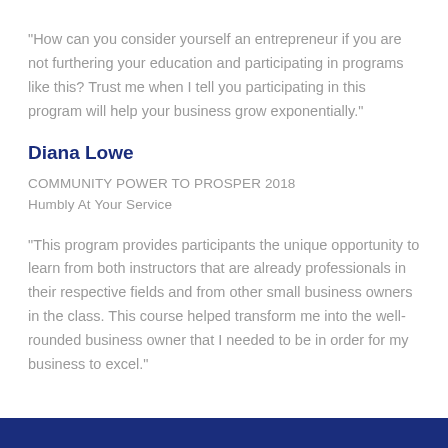“How can you consider yourself an entrepreneur if you are not furthering your education and participating in programs like this? Trust me when I tell you participating in this program will help your business grow exponentially.”
Diana Lowe
COMMUNITY POWER TO PROSPER 2018
Humbly At Your Service
“This program provides participants the unique opportunity to learn from both instructors that are already professionals in their respective fields and from other small business owners in the class. This course helped transform me into the well-rounded business owner that I needed to be in order for my business to excel.”